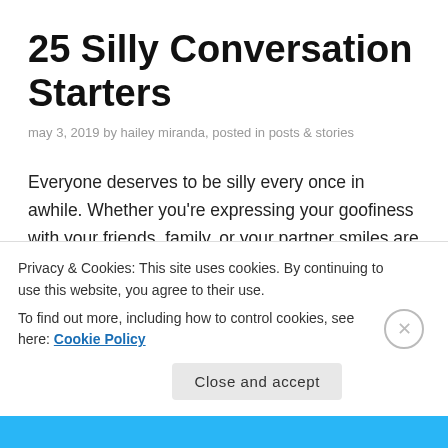25 Silly Conversation Starters
may 3, 2019 by hailey miranda, posted in posts & stories
Everyone deserves to be silly every once in awhile. Whether you're expressing your goofiness with your friends, family, or your partner smiles are bound to pour sunshine to those you love. So sit back, relax and answer some goofy questions because why not, it's fun!
1.  What's one song that describes your life thus far?
Privacy & Cookies: This site uses cookies. By continuing to use this website, you agree to their use.
To find out more, including how to control cookies, see here: Cookie Policy
Close and accept